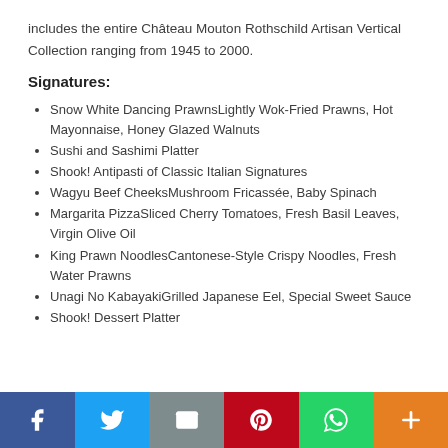includes the entire Château Mouton Rothschild Artisan Vertical Collection ranging from 1945 to 2000.
Signatures:
Snow White Dancing PrawnsLightly Wok-Fried Prawns, Hot Mayonnaise, Honey Glazed Walnuts
Sushi and Sashimi Platter
Shook! Antipasti of Classic Italian Signatures
Wagyu Beef CheeksMushroom Fricassée, Baby Spinach
Margarita PizzaSliced Cherry Tomatoes, Fresh Basil Leaves, Virgin Olive Oil
King Prawn NoodlesCantonese-Style Crispy Noodles, Fresh Water Prawns
Unagi No KabayakiGrilled Japanese Eel, Special Sweet Sauce
Shook! Dessert Platter